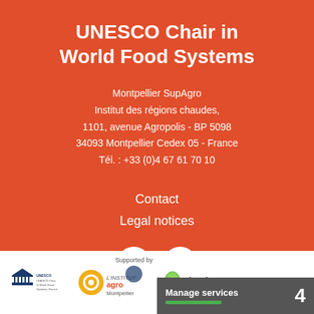UNESCO Chair in World Food Systems
Montpellier SupAgro
Institut des régions chaudes,
1101, avenue Agropolis - BP 5098
34093 Montpellier Cedex 05 - France
Tél. : +33 (0)4 67 61 70 10
Contact
Legal notices
[Figure (logo): Twitter and Vimeo social media icons as white circles on orange background]
[Figure (logo): Footer logos: UNESCO Chair logo, L'Institut Agro Montpellier logo, Cirad logo, and Supported by logo]
Manage services